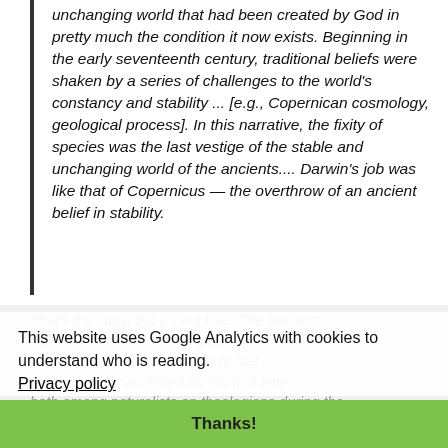unchanging world that had been created by God in pretty much the condition it now exists. Beginning in the early seventeenth century, traditional beliefs were shaken by a series of challenges to the world's constancy and stability ... [e.g., Copernican cosmology, geological process]. In this narrative, the fixity of species was the last vestige of the stable and unchanging world of the ancients.... Darwin's job was like that of Copernicus — the overthrow of an ancient belief in stability.
That's the story, but it's not true. The Western tradition ... unchanging world ... part of that w... widely accepted for the first time both among naturalists an theologians during the eighteenth century, only about a century before Darwin (Zirkle 1951:48-49; Zirkle 1959:642). Carl Linnaous is widely known for his unequivocal
This website uses Google Analytics with cookies to understand who is reading.
Privacy policy
Thanks!